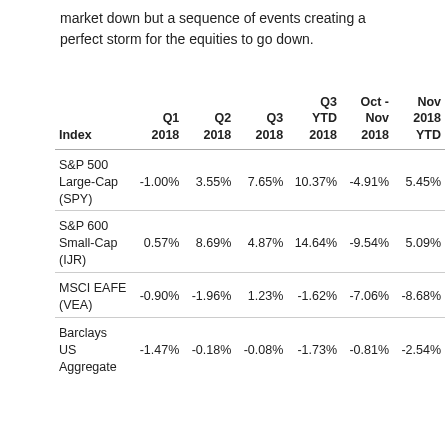market down but a sequence of events creating a perfect storm for the equities to go down.
| Index | Q1 2018 | Q2 2018 | Q3 2018 | Q3 YTD 2018 | Oct - Nov 2018 | Nov 2018 YTD |
| --- | --- | --- | --- | --- | --- | --- |
| S&P 500 Large-Cap (SPY) | -1.00% | 3.55% | 7.65% | 10.37% | -4.91% | 5.45% |
| S&P 600 Small-Cap (IJR) | 0.57% | 8.69% | 4.87% | 14.64% | -9.54% | 5.09% |
| MSCI EAFE (VEA) | -0.90% | -1.96% | 1.23% | -1.62% | -7.06% | -8.68% |
| Barclays US Aggregate | -1.47% | -0.18% | -0.08% | -1.73% | -0.81% | -2.54% |